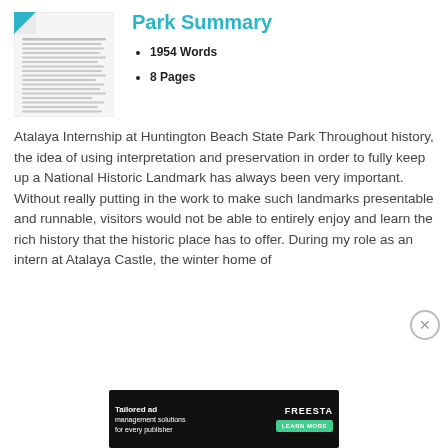[Figure (illustration): Thumbnail preview of a document page with blue folded corner and text lines]
Park Summary
1954 Words
8 Pages
Atalaya Internship at Huntington Beach State Park Throughout history, the idea of using interpretation and preservation in order to fully keep up a National Historic Landmark has always been very important. Without really putting in the work to make such landmarks presentable and runnable, visitors would not be able to entirely enjoy and learn the rich history that the historic place has to offer. During my role as an intern at Atalaya Castle, the winter home of
[Figure (infographic): Advertisement banner: Tailored ad management solutions for every publisher — FREESTA, LEARN MORE button]